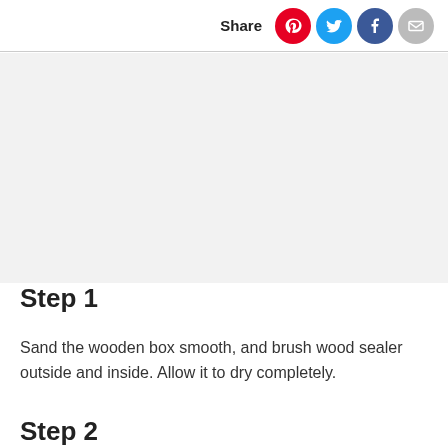Share
[Figure (other): Gray placeholder image area]
Step 1
Sand the wooden box smooth, and brush wood sealer outside and inside. Allow it to dry completely.
Step 2